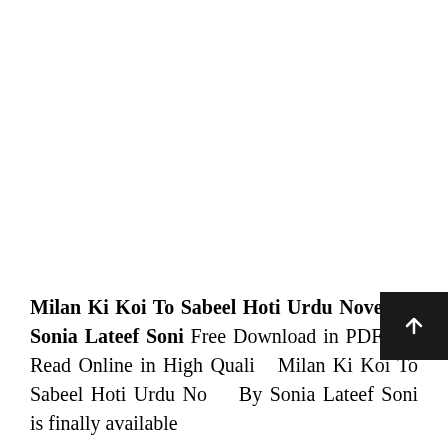Milan Ki Koi To Sabeel Hoti Urdu Novel By Sonia Lateef Soni Free Download in PDF and Read Online in High Quality Milan Ki Koi To Sabeel Hoti Urdu Novel By Sonia Lateef Soni is finally available